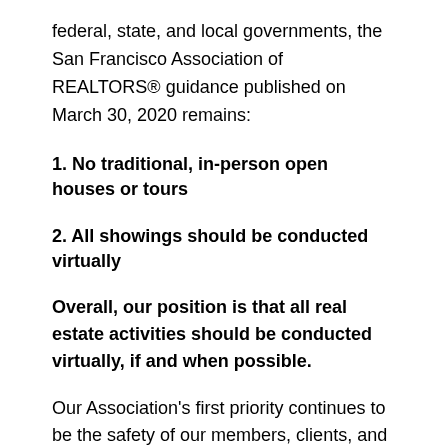federal, state, and local governments, the San Francisco Association of REALTORS® guidance published on March 30, 2020 remains:
1. No traditional, in-person open houses or tours
2. All showings should be conducted virtually
Overall, our position is that all real estate activities should be conducted virtually, if and when possible.
Our Association's first priority continues to be the safety of our members, clients, and community.
Thank you,
Marc Dickow, President
Walt Baczkowski, CEO